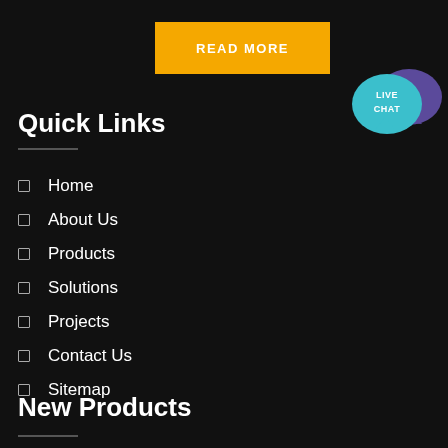[Figure (other): Yellow button with white bold text reading READ MORE]
[Figure (illustration): Live chat icon — teal speech bubble with LIVE CHAT text overlapping a purple speech bubble]
Quick Links
Home
About Us
Products
Solutions
Projects
Contact Us
Sitemap
New Products